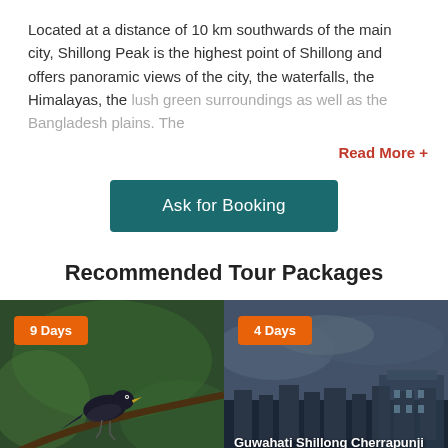Located at a distance of 10 km southwards of the main city, Shillong Peak is the highest point of Shillong and offers panoramic views of the city, the waterfalls, the Himalayas, the lush green surroundings as well as the Bangladesh plains. The
Read More +
Ask for Booking
Recommended Tour Packages
[Figure (photo): Photo of a dark bird perched on a branch with green foliage background, labeled '9 Days' badge top left, caption 'Birding In Assam and M']
[Figure (photo): Aerial/cityscape photo of Guwahati/Shillong with buildings and overcast sky, labeled '4 Days' badge top left, caption 'Guwahati Shillong Cherrapunji']
YES PLAN MY TRIP